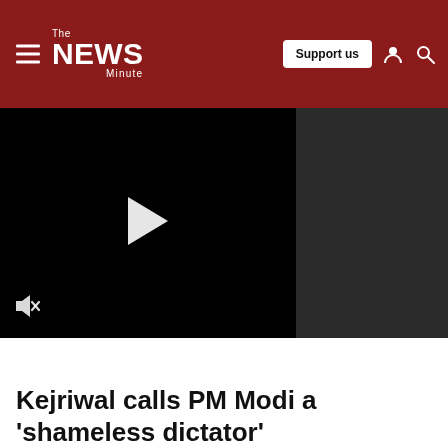The News Minute
[Figure (screenshot): Video player with black background, white play button triangle in center, mute icon at bottom left, and dark gray sidebar on the right]
Kejriwal calls PM Modi a 'shameless dictator'